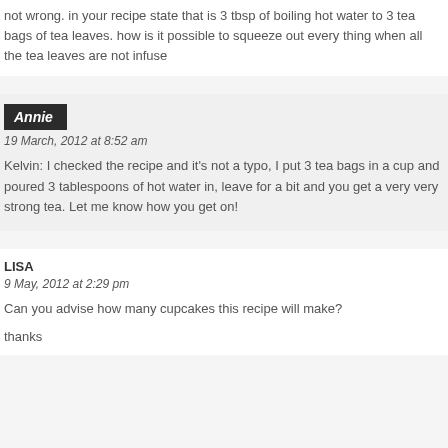not wrong. in your recipe state that is 3 tbsp of boiling hot water to 3 tea bags of tea leaves. how is it possible to squeeze out every thing when all the tea leaves are not infuse
Annie
19 March, 2012 at 8:52 am
Kelvin: I checked the recipe and it's not a typo, I put 3 tea bags in a cup and poured 3 tablespoons of hot water in, leave for a bit and you get a very very strong tea. Let me know how you get on!
LISA
9 May, 2012 at 2:29 pm
Can you advise how many cupcakes this recipe will make?
thanks